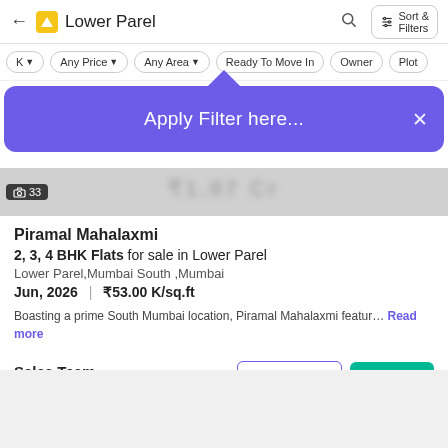Lower Parel
Any Price | Any Area | Ready To Move In | Owner | Plot
Apply Filter here...
Piramal Mahalaxmi
2, 3, 4 BHK Flats for sale in Lower Parel
Lower Parel,Mumbai South ,Mumbai
Jun, 2026 | ₹53.00 K/sq.ft
Boasting a prime South Mumbai location, Piramal Mahalaxmi featur... Read more
Sales Team
Seller + 4 more
Get Callback
Contact